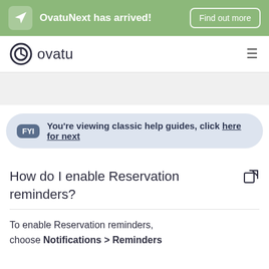OvatuNext has arrived! Find out more
[Figure (logo): Ovatu logo with clock icon and wordmark]
You're viewing classic help guides, click here for next
How do I enable Reservation reminders?
To enable Reservation reminders, choose Notifications > Reminders